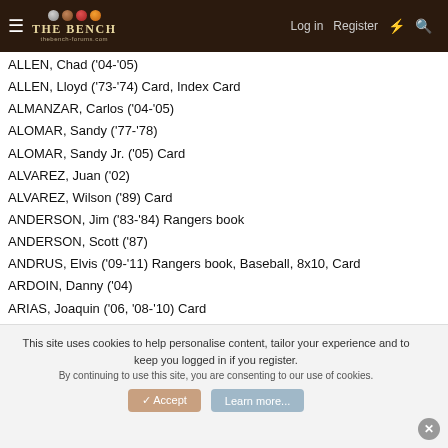The Bench — Log in | Register
ALLEN, Chad ('04-'05)
ALLEN, Lloyd ('73-'74) Card, Index Card
ALMANZAR, Carlos ('04-'05)
ALOMAR, Sandy ('77-'78)
ALOMAR, Sandy Jr. ('05) Card
ALVAREZ, Juan ('02)
ALVAREZ, Wilson ('89) Card
ANDERSON, Jim ('83-'84) Rangers book
ANDERSON, Scott ('87)
ANDRUS, Elvis ('09-'11) Rangers book, Baseball, 8x10, Card
ARDOIN, Danny ('04)
ARIAS, Joaquin ('06, '08-'10) Card
ARMSTRONG, Jack ('94)
ARNSBERG, Brad ('89-'91) Rangers book, Card
ASHFORD, Tucker ('80) Card
This site uses cookies to help personalise content, tailor your experience and to keep you logged in if you register. By continuing to use this site, you are consenting to our use of cookies.